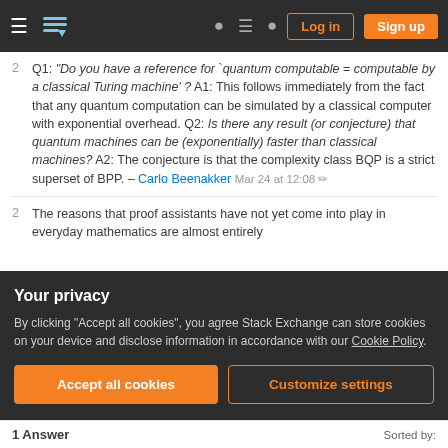Stack Exchange site header with Log in and Sign up buttons
2  Q1: "Do you have a reference for 'quantum computable = computable by a classical Turing machine' ? A1: This follows immediately from the fact that any quantum computation can be simulated by a classical computer with exponential overhead. Q2: Is there any result (or conjecture) that quantum machines can be (exponentially) faster than classical machines? A2: The conjecture is that the complexity class BQP is a strict superset of BPP. – Carlo Beenakker Mar 24 at 12:08
2  The reasons that proof assistants have not yet come into play in everyday mathematics are almost entirely
Your privacy
By clicking "Accept all cookies", you agree Stack Exchange can store cookies on your device and disclose information in accordance with our Cookie Policy.
1 Answer   Sorted by: